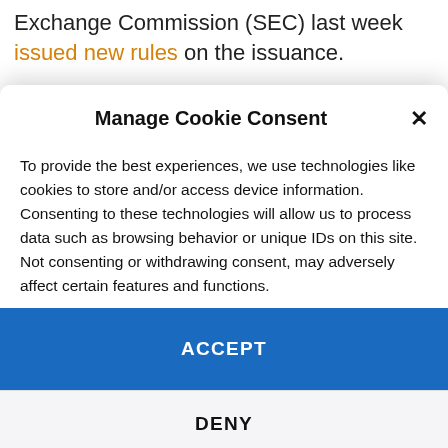Exchange Commission (SEC) last week issued new rules on the issuance.
Manage Cookie Consent
To provide the best experiences, we use technologies like cookies to store and/or access device information. Consenting to these technologies will allow us to process data such as browsing behavior or unique IDs on this site. Not consenting or withdrawing consent, may adversely affect certain features and functions.
ACCEPT
DENY
VIEW PREFERENCES